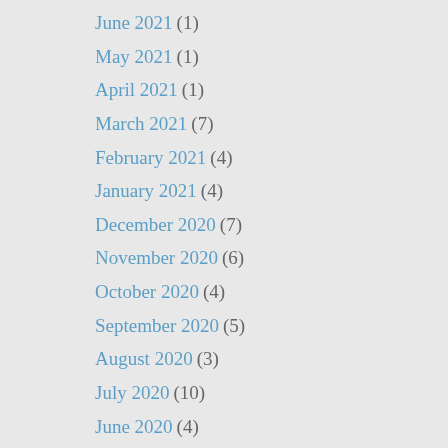June 2021 (1)
May 2021 (1)
April 2021 (1)
March 2021 (7)
February 2021 (4)
January 2021 (4)
December 2020 (7)
November 2020 (6)
October 2020 (4)
September 2020 (5)
August 2020 (3)
July 2020 (10)
June 2020 (4)
May 2020 (5)
April 2020 (2)
March 2020 (1)
February 2020 (1)
January 2020 (1)
December 2019 (4)
November 2019 (5)